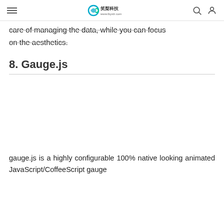≡  笑梨科技 www.lbyxlz.com  🔍  👤
care of managing the data, while you can focus on the aesthetics.
8. Gauge.js
[Figure (other): Empty white space placeholder for a Gauge.js image/screenshot]
gauge.js is a highly configurable 100% native looking animated JavaScript/CoffeeScript gauge